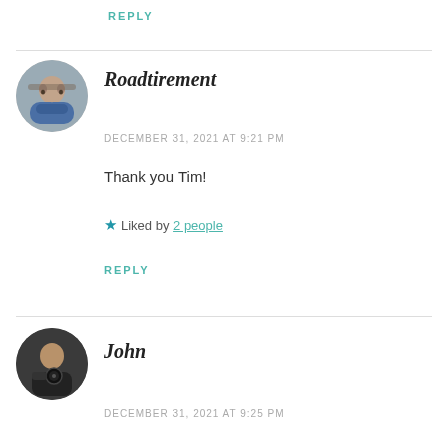REPLY
[Figure (photo): Circular avatar photo of two people (Roadtirement)]
Roadtirement
DECEMBER 31, 2021 AT 9:21 PM
Thank you Tim!
★ Liked by 2 people
REPLY
[Figure (photo): Circular avatar photo of a person with a camera (John)]
John
DECEMBER 31, 2021 AT 9:25 PM